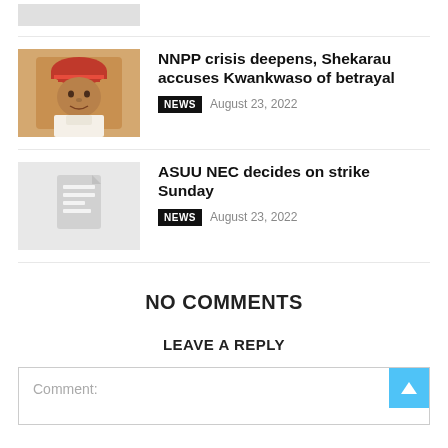[Figure (photo): Partial top thumbnail placeholder (cropped gray box)]
[Figure (photo): Photo of Ibrahim Shekarau wearing a red cap and white garment]
NNPP crisis deepens, Shekarau accuses Kwankwaso of betrayal
NEWS  August 23, 2022
[Figure (illustration): Gray placeholder thumbnail with document icon]
ASUU NEC decides on strike Sunday
NEWS  August 23, 2022
NO COMMENTS
LEAVE A REPLY
Comment: